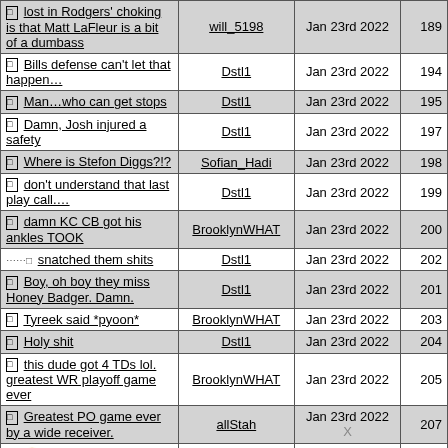| Post | Author | Date | # |
| --- | --- | --- | --- |
| lost in Rodgers' choking is that Matt LaFleur is a bit of a dumbass | will_5198 | Jan 23rd 2022 | 189 |
| Bills defense can't let that happen… | Dstl1 | Jan 23rd 2022 | 194 |
| Man…who can get stops | Dstl1 | Jan 23rd 2022 | 195 |
| Damn, Josh injured a safety | Dstl1 | Jan 23rd 2022 | 197 |
| Where is Stefon Diggs?!? | Sofian_Hadi | Jan 23rd 2022 | 198 |
| don't understand that last play call.… | Dstl1 | Jan 23rd 2022 | 199 |
| damn KC CB got his ankles TOOK | BrooklynWHAT | Jan 23rd 2022 | 200 |
| ↳ snatched them shits | Dstl1 | Jan 23rd 2022 | 202 |
| Boy, oh boy they miss Honey Badger. Damn. | Dstl1 | Jan 23rd 2022 | 201 |
| Tyreek said *pyoon* | BrooklynWHAT | Jan 23rd 2022 | 203 |
| Holy shit | Dstl1 | Jan 23rd 2022 | 204 |
| this dude got 4 TDs lol. greatest WR playoff game ever | BrooklynWHAT | Jan 23rd 2022 | 205 |
| Greatest PO game ever by a wide receiver. | allStah | Jan 23rd 2022 X | 207 |
| 🙂 | Dstl1 | Jan 23rd 2022 | 208 |
| NFL Scriptwriters wont… | BrooklynWHAT | Jan 23rd 2022 | 209 |